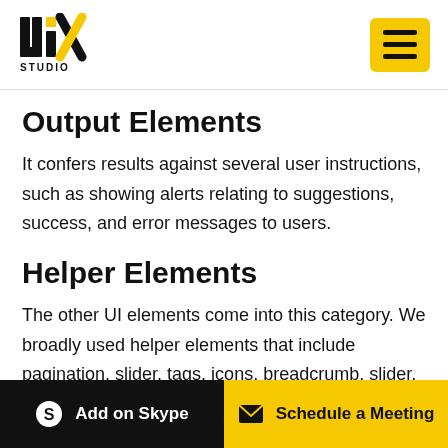[Figure (logo): UIX Studio logo with hamburger menu button]
Output Elements
It confers results against several user instructions, such as showing alerts relating to suggestions, success, and error messages to users.
Helper Elements
The other UI elements come into this category. We broadly used helper elements that include pagination, slider, tags, icons, breadcrumb, slider, search field. It also assists users in going around a product or website. Many UI components come in this section of user interface
Add on Skype | Schedule a Meeting